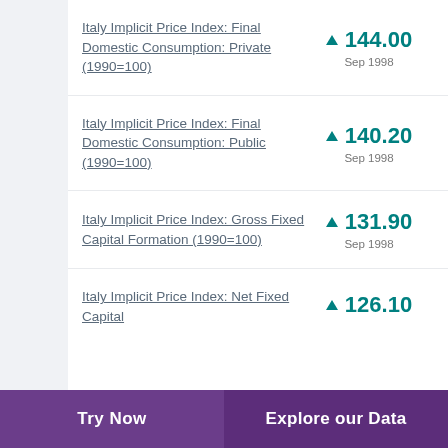Italy Implicit Price Index: Final Domestic Consumption: Private (1990=100)
Italy Implicit Price Index: Final Domestic Consumption: Public (1990=100)
Italy Implicit Price Index: Gross Fixed Capital Formation (1990=100)
Italy Implicit Price Index: Net Fixed Capital
Try Now   Explore our Data